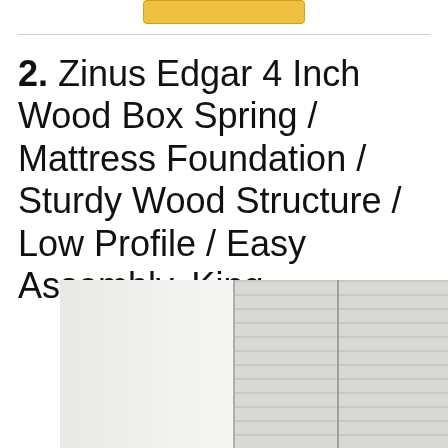[Figure (other): Partial view of a yellow/gold Buy button at the top of the page]
2. Zinus Edgar 4 Inch Wood Box Spring / Mattress Foundation / Sturdy Wood Structure / Low Profile / Easy Assembly, King
[Figure (photo): Product photo showing a white mattress foundation/box spring in a bedroom setting with white shuttered windows in the background]